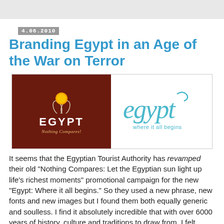4.06.2010
Branding Egypt in an Age of the War on Terror
[Figure (logo): Two Egypt tourism logos side by side: left is the classic 'EGYPT Nothing Compares' logo on dark red/brown background with orange sun and white lotus/flower design; right is the new 'egypt where it all begins' logo in light blue script on white background.]
It seems that the Egyptian Tourist Authority has revamped their old "Nothing Compares: Let the Egyptian sun light up life's richest moments" promotional campaign for the new "Egypt: Where it all begins." So they used a new phrase, new fonts and new images but I found them both equally generic and soulless. I find it absolutely incredible that with over 6000 years of history, culture and traditions to draw from, I felt instead that I am watching an advertisement for a Caribbean island or a party town like Ibiza.